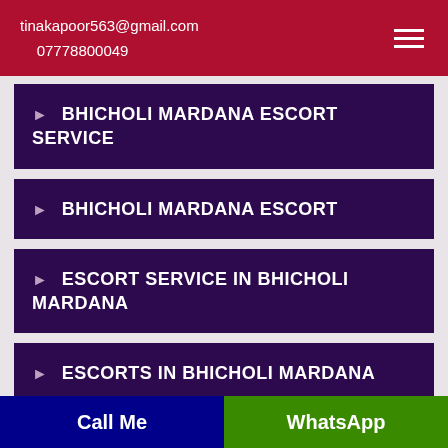tinakapoor563@gmail.com
07778800049
▶ BHICHOLI MARDANA ESCORT SERVICE
▶ BHICHOLI MARDANA ESCORT
▶ ESCORT SERVICE IN BHICHOLI MARDANA
▶ ESCORTS IN BHICHOLI MARDANA
▶ ESCORTS IN AGENCY BHICHOLI
Call Me    WhatsApp